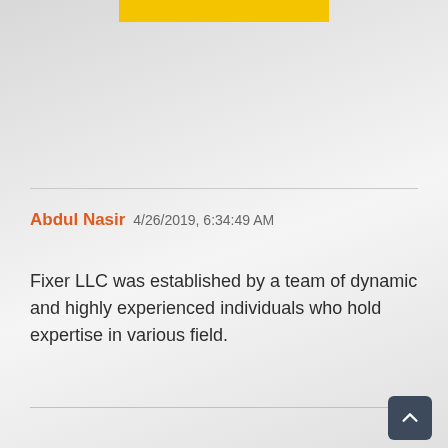[Figure (other): Yellow decorative bar at top center]
Abdul Nasir 4/26/2019, 6:34:49 AM
Fixer LLC was established by a team of dynamic and highly experienced individuals who hold expertise in various field.